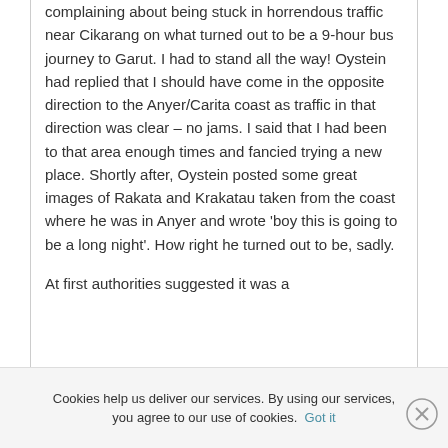complaining about being stuck in horrendous traffic near Cikarang on what turned out to be a 9-hour bus journey to Garut. I had to stand all the way! Oystein had replied that I should have come in the opposite direction to the Anyer/Carita coast as traffic in that direction was clear – no jams. I said that I had been to that area enough times and fancied trying a new place. Shortly after, Oystein posted some great images of Rakata and Krakatau taken from the coast where he was in Anyer and wrote 'boy this is going to be a long night'. How right he turned out to be, sadly.
At first authorities suggested it was a
Cookies help us deliver our services. By using our services, you agree to our use of cookies. Got it